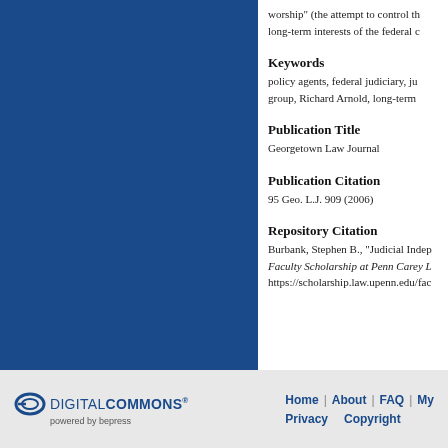worship" (the attempt to control the long-term interests of the federal c…
Keywords
policy agents, federal judiciary, ju… group, Richard Arnold, long-term
Publication Title
Georgetown Law Journal
Publication Citation
95 Geo. L.J. 909 (2006)
Repository Citation
Burbank, Stephen B., "Judicial Indep…
Faculty Scholarship at Penn Carey L…
https://scholarship.law.upenn.edu/fac…
Home | About | FAQ | My… Privacy Copyright